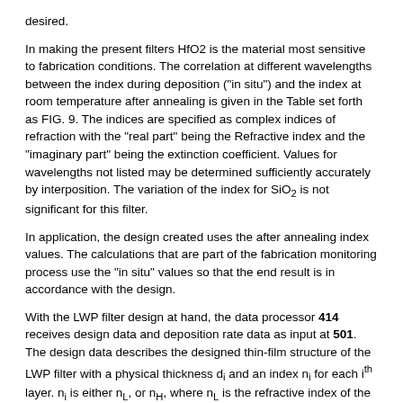desired.
In making the present filters HfO2 is the material most sensitive to fabrication conditions. The correlation at different wavelengths between the index during deposition ("in situ") and the index at room temperature after annealing is given in the Table set forth as FIG. 9. The indices are specified as complex indices of refraction with the "real part" being the Refractive index and the "imaginary part" being the extinction coefficient. Values for wavelengths not listed may be determined sufficiently accurately by interposition. The variation of the index for SiO2 is not significant for this filter.
In application, the design created uses the after annealing index values. The calculations that are part of the fabrication monitoring process use the "in situ" values so that the end result is in accordance with the design.
With the LWP filter design at hand, the data processor 414 receives design data and deposition rate data as input at 501. The design data describes the designed thin-film structure of the LWP filter with a physical thickness d_i and an index n_i for each i-th layer. n_i is either n_L, or n_H, where n_L is the refractive index of the low-index material and n_H is the refractive index of the high-index material. n_L and n_H are each known as a function of wavelength λ. The deposition rate data describes the known starting deposition rate of the deposition apparatus 400 shown in FIG. 4 for each of